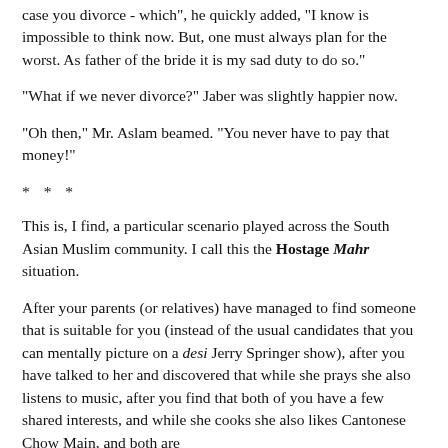come up with the money. It's just – on paper. But should, in case you divorce - which", he quickly added, "I know is impossible to think now. But, one must always plan for the worst. As father of the bride it is my sad duty to do so."
"What if we never divorce?" Jaber was slightly happier now.
"Oh then," Mr. Aslam beamed. "You never have to pay that money!"
* * *
This is, I find, a particular scenario played across the South Asian Muslim community. I call this the Hostage Mahr situation.
After your parents (or relatives) have managed to find someone that is suitable for you (instead of the usual candidates that you can mentally picture on a desi Jerry Springer show), after you have talked to her and discovered that while she prays she also listens to music, after you find that both of you have a few shared interests, and while she cooks she also likes Cantonese Chow Main, and both are